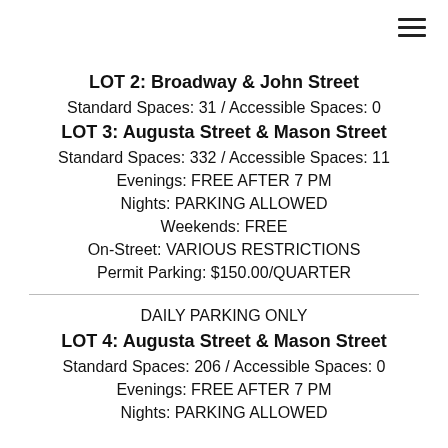LOT 2: Broadway & John Street
Standard Spaces: 31 / Accessible Spaces: 0
LOT 3: Augusta Street & Mason Street
Standard Spaces: 332 / Accessible Spaces: 11
Evenings: FREE AFTER 7 PM
Nights: PARKING ALLOWED
Weekends: FREE
On-Street: VARIOUS RESTRICTIONS
Permit Parking: $150.00/QUARTER
DAILY PARKING ONLY
LOT 4: Augusta Street & Mason Street
Standard Spaces: 206 / Accessible Spaces: 0
Evenings: FREE AFTER 7 PM
Nights: PARKING ALLOWED